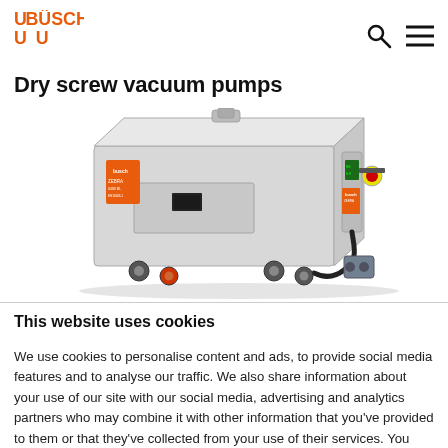Busch logo, search icon, menu icon
Dry screw vacuum pumps
[Figure (photo): A large grey boxy dry screw vacuum pump unit on wheels, with orange Busch branding labels, a control panel, black cable, and a yellow/red emergency stop button on the right side.]
This website uses cookies
We use cookies to personalise content and ads, to provide social media features and to analyse our traffic. We also share information about your use of our site with our social media, advertising and analytics partners who may combine it with other information that you've provided to them or that they've collected from your use of their services. You consent to our cookies if you continue to use our website.